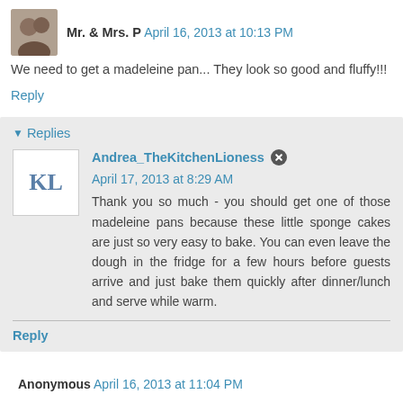Mr. & Mrs. P  April 16, 2013 at 10:13 PM
We need to get a madeleine pan... They look so good and fluffy!!!
Reply
Replies
Andrea_TheKitchenLioness  April 17, 2013 at 8:29 AM
Thank you so much - you should get one of those madeleine pans because these little sponge cakes are just so very easy to bake. You can even leave the dough in the fridge for a few hours before guests arrive and just bake them quickly after dinner/lunch and serve while warm.
Reply
Anonymous  April 16, 2013 at 11:04 PM